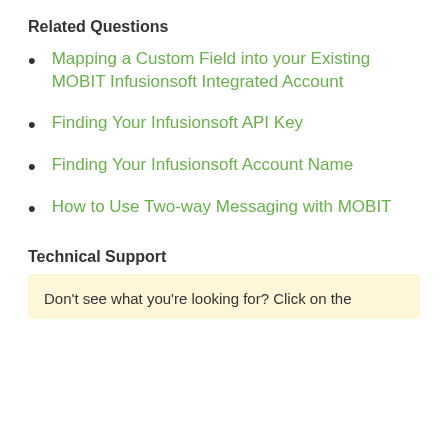Related Questions
Mapping a Custom Field into your Existing MOBIT Infusionsoft Integrated Account
Finding Your Infusionsoft API Key
Finding Your Infusionsoft Account Name
How to Use Two-way Messaging with MOBIT
Technical Support
Don't see what you're looking for? Click on the